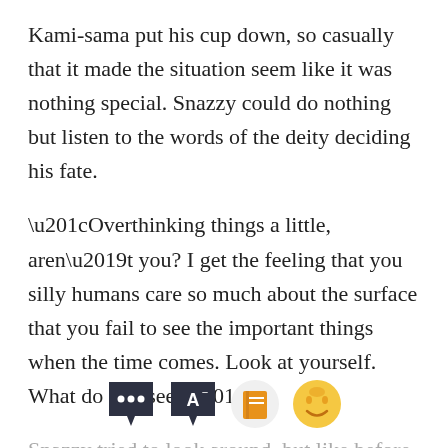Kami-sama put his cup down, so casually that it made the situation seem like it was nothing special. Snazzy could do nothing but listen to the words of the deity deciding his fate.
“Overthinking things a little, aren’t you? I get the feeling that you silly humans care so much about the surface that you fail to see the important things when the time comes. Look at yourself. What do you see?”
Snazzy tried to look around. but like before, he
[Figure (screenshot): Mobile reading app toolbar with four icon buttons: speech bubble (dark), letter A with minus (dark), book (orange), and happy face emoji (yellow/orange)]